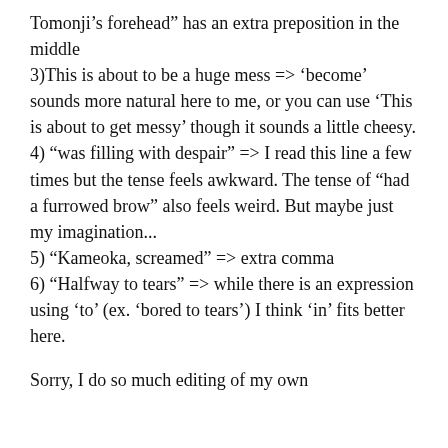Tomonji’s forehead” has an extra preposition in the middle
3)This is about to be a huge mess => ‘become’ sounds more natural here to me, or you can use ‘This is about to get messy’ though it sounds a little cheesy.
4) “was filling with despair” => I read this line a few times but the tense feels awkward. The tense of “had a furrowed brow” also feels weird. But maybe just my imagination...
5) “Kameoka, screamed” => extra comma
6) “Halfway to tears” => while there is an expression using ‘to’ (ex. ‘bored to tears’) I think ‘in’ fits better here.
Sorry, I do so much editing of my own